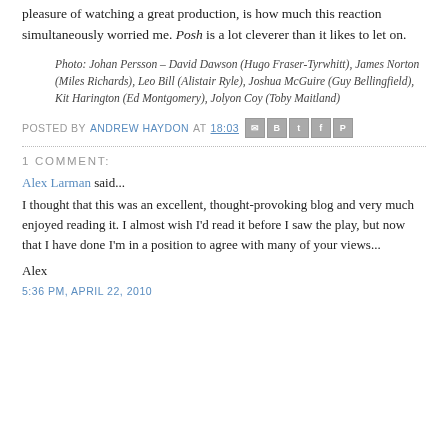pleasure of watching a great production, is how much this reaction simultaneously worried me. Posh is a lot cleverer than it likes to let on.
Photo: Johan Persson – David Dawson (Hugo Fraser-Tyrwhitt), James Norton (Miles Richards), Leo Bill (Alistair Ryle), Joshua McGuire (Guy Bellingfield), Kit Harington (Ed Montgomery), Jolyon Coy (Toby Maitland)
POSTED BY ANDREW HAYDON AT 18:03
1 COMMENT:
Alex Larman said...
I thought that this was an excellent, thought-provoking blog and very much enjoyed reading it. I almost wish I'd read it before I saw the play, but now that I have done I'm in a position to agree with many of your views...
Alex
5:36 PM, APRIL 22, 2010